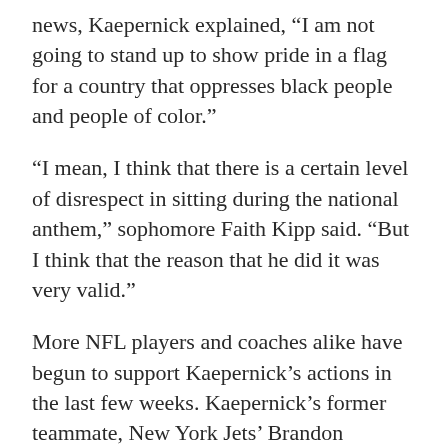news, Kaepernick explained, "I am not going to stand up to show pride in a flag for a country that oppresses black people and people of color."
"I mean, I think that there is a certain level of disrespect in sitting during the national anthem," sophomore Faith Kipp said. "But I think that the reason that he did it was very valid."
More NFL players and coaches alike have begun to support Kaepernick's actions in the last few weeks. Kaepernick's former teammate, New York Jets' Brandon Marshall, took a knee during the National Anthem before his team's season opener against the Carolina Panthers.
The most recent addition to the NFL protest occurred on Sep. 22 when Houston Texans